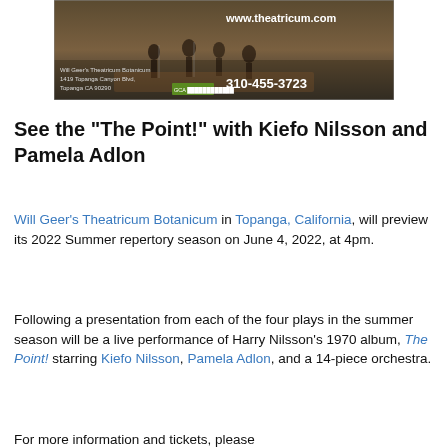[Figure (photo): Advertisement banner for Will Geer's Theatricum Botanicum showing performers on stage. Text overlay includes: 'Will Geer's Theatricum Botanicum, 1419 Topanga Canyon Blvd, Topanga CA 90290', 'www.theatricum.com', '310-455-3723']
See the "The Point!" with Kiefo Nilsson and Pamela Adlon
Will Geer's Theatricum Botanicum in Topanga, California, will preview its 2022 Summer repertory season on June 4, 2022, at 4pm.
Following a presentation from each of the four plays in the summer season will be a live performance of Harry Nilsson's 1970 album, The Point! starring Kiefo Nilsson, Pamela Adlon, and a 14-piece orchestra.
For more information and tickets, please